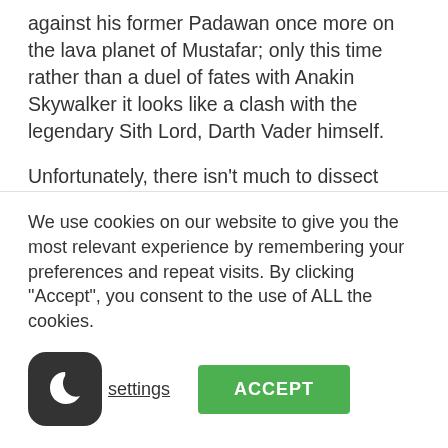against his former Padawan once more on the lava planet of Mustafar; only this time rather than a duel of fates with Anakin Skywalker it looks like a clash with the legendary Sith Lord, Darth Vader himself.
Unfortunately, there isn't much to dissect from the second image, as it simply shows our beloved hero riding some kind of Animal on what is presumably the sands of Tatooine. The third image however is my personal favourite of the set: Showing the Stormtroopers of the Empire
We use cookies on our website to give you the most relevant experience by remembering your preferences and repeat visits. By clicking "Accept", you consent to the use of ALL the cookies.
settings
ACCEPT